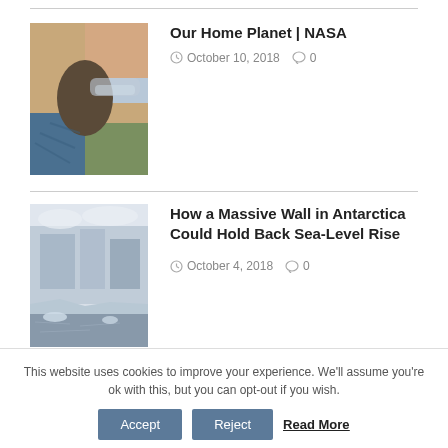[Figure (photo): Composite image of Earth showing different seasons or biomes — sky, desert, ocean, vegetation]
Our Home Planet | NASA
October 10, 2018  0
[Figure (photo): Photograph of a large glacier or ice wall in Antarctica with crumbling ice face over water]
How a Massive Wall in Antarctica Could Hold Back Sea-Level Rise
October 4, 2018  0
This website uses cookies to improve your experience. We'll assume you're ok with this, but you can opt-out if you wish.